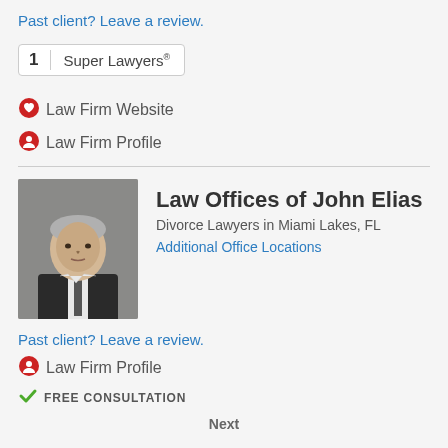Past client? Leave a review.
[Figure (other): Super Lawyers badge showing '1 Super Lawyers' with number on left separated by vertical line from text on right, bordered box]
Law Firm Website
Law Firm Profile
[Figure (photo): Professional headshot of an older man with gray hair wearing a dark suit and tie, against a gray background]
Law Offices of John Elias
Divorce Lawyers in Miami Lakes, FL
Additional Office Locations
Past client? Leave a review.
Law Firm Profile
FREE CONSULTATION
Next